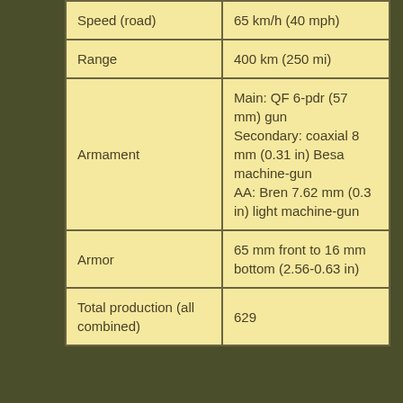| Property | Value |
| --- | --- |
| Speed (road) | 65 km/h (40 mph) |
| Range | 400 km (250 mi) |
| Armament | Main: QF 6-pdr (57 mm) gun
Secondary: coaxial 8 mm (0.31 in) Besa machine-gun
AA: Bren 7.62 mm (0.3 in) light machine-gun |
| Armor | 65 mm front to 16 mm bottom (2.56-0.63 in) |
| Total production (all combined) | 629 |